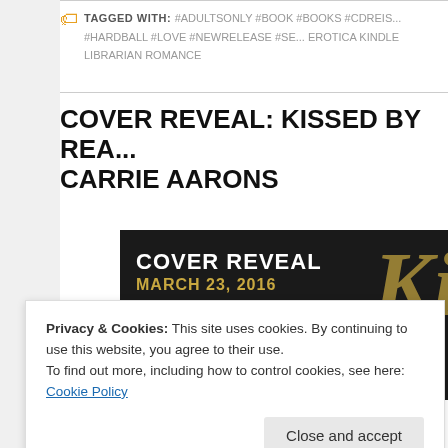TAGGED WITH: #ADULTSONLY #BOOK #BOOKS #CDREIS... #HARDBALL #LOVE #NEWRELEASE #SE... EROTICA KINDLE LIBRARIAN ROMANCE
COVER REVEAL: KISSED BY REA... CARRIE AARONS
[Figure (photo): Cover reveal announcement image with dark background. Text reads 'COVER REVEAL' in large white letters, 'MARCH 23, 2016' in gold, and 'FALLING IN LOVE ON NATIONAL TELEVISION IS IRRESISTIBLE' in small text. A woman's face is partially visible on the right side with a gold letter K.]
Privacy & Cookies: This site uses cookies. By continuing to use this website, you agree to their use.
To find out more, including how to control cookies, see here: Cookie Policy